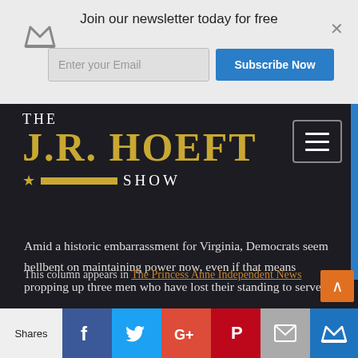Join our newsletter today for free
[Figure (screenshot): The J.R. Hoeft Show logo with gold text on dark background, hamburger menu button top right]
Amid a historic embarrassment for Virginia, Democrats seem hellbent on maintaining power now, even if that means propping up three men who have lost their standing to serve.
This column appears in The Princess Anne Independent News
Shares | Facebook | Twitter | Google+ | Pinterest | Email | Crown